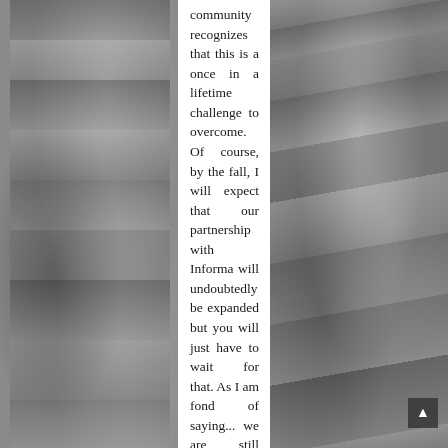[Figure (photo): Black and white photo of a crowd at a conference or trade show event, people visible with signs/papers]
community recognizes that this is a once in a lifetime challenge to overcome. Of course, by the fall, I will expect that our partnership with Informa will undoubtedly be expanded but you will just have to wait for that. As I am fond of saying... we are still painting!
Last year you gave an interview to the Trade Show Executive, American edition, in which you noted that if you were not the director of the ISSA, you would have become a teacher. If for one day you had the opportunity to become the headliner and hold a conference on a free topic in front of a large
[Figure (photo): Black and white photo of newspapers or documents being handled, rolls of newspaper visible]